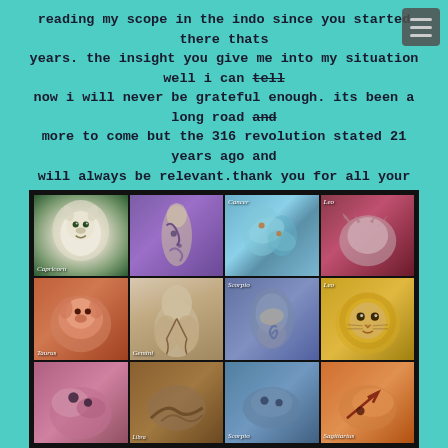reading my scope in the indo since you started there thats years. the insight you give me into my situation well i can tell now i will never be grateful enough. its been a long road and more to come but the 316 revolution stated 21 years ago and will always be relevant.thank you for all your support and encouragement. my journey continues and you and the others of your kind and mine will prevail.
Thank you again LIBRA 316
[Figure (illustration): A collage of 12 zodiac signs depicted as body paint / artistic illustrations arranged in a 4x4 grid with a black border. Visible labels include Capricorn, Taurus, Gemini, Libra, Cancer, Scorpio, Leo, Sagittarius.]